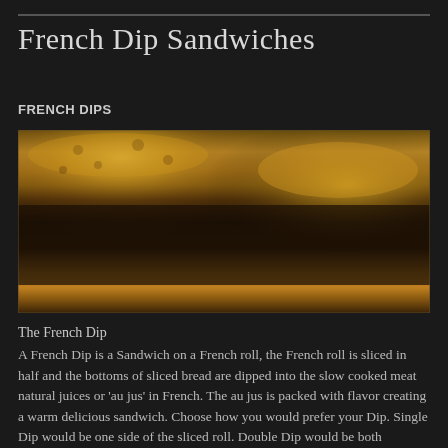French Dip Sandwiches
FRENCH DIPS
[Figure (photo): Close-up photograph of a French Dip sandwich on a French roll, showing sliced beef and bread against a dark background]
The French Dip
A French Dip is a Sandwich on a French roll, the French roll is sliced in half and the bottoms of sliced bread are dipped into the slow cooked meat natural juices or 'au jus' in French. The au jus is packed with flavor creating a warm delicious sandwich. Choose how you would prefer your Dip. Single Dip would be one side of the sliced roll. Double Dip would be both